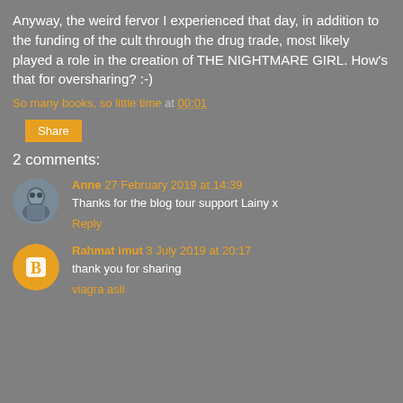Anyway, the weird fervor I experienced that day, in addition to the funding of the cult through the drug trade, most likely played a role in the creation of THE NIGHTMARE GIRL. How's that for oversharing? :-)
So many books, so little time at 00:01
Share
2 comments:
Anne 27 February 2019 at 14:39
Thanks for the blog tour support Lainy x
Reply
Rahmat imut 3 July 2019 at 20:17
thank you for sharing
viagra asli